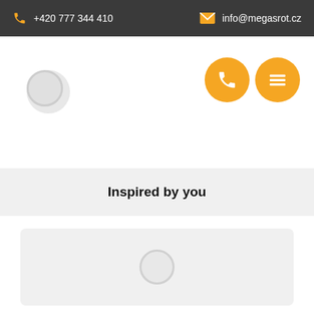+420 777 344 410   info@megasrot.cz
[Figure (screenshot): Website navigation area with logo circle placeholder and two orange circular buttons (phone and menu icons)]
Inspired by you
[Figure (screenshot): Light gray card/panel with a loading spinner circle in the center]